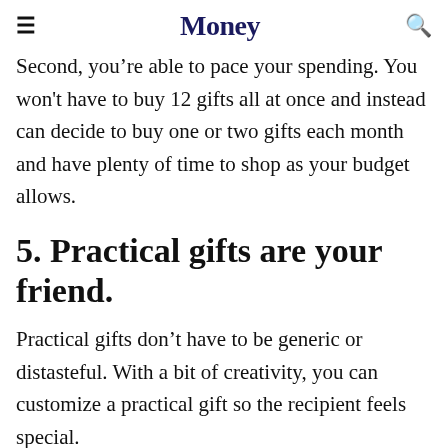Money
Second, you’re able to pace your spending. You won't have to buy 12 gifts all at once and instead can decide to buy one or two gifts each month and have plenty of time to shop as your budget allows.
5. Practical gifts are your friend.
Practical gifts don’t have to be generic or distasteful. With a bit of creativity, you can customize a practical gift so the recipient feels special.